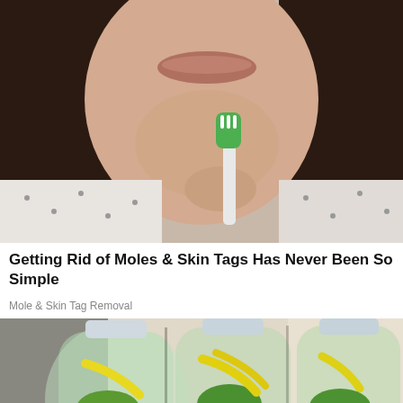[Figure (photo): Close-up photo of a woman holding a green toothbrush near her chin/jaw area, wearing a white patterned top, with dark hair]
Getting Rid of Moles & Skin Tags Has Never Been So Simple
Mole & Skin Tag Removal
[Figure (photo): Three clear plastic water bottles filled with cucumber slices, lemon/yellow citrus strips, and green mint leaves, sitting on a counter]